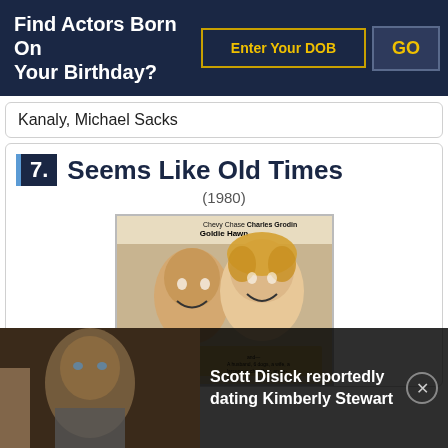Find Actors Born On Your Birthday?
Kanaly, Michael Sacks
7. Seems Like Old Times
(1980)
[Figure (photo): Movie poster for 'Seems Like Old Times' (1980) featuring Chevy Chase, Goldie Hawn, Charles Grodin. Shows two smiling faces and additional small text at the bottom.]
[Figure (photo): Video thumbnail of a man in a suit, with a play button overlay]
Scott Disick reportedly dating Kimberly Stewart